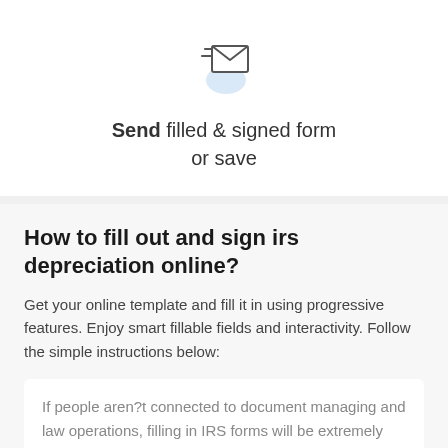[Figure (illustration): Icon of an envelope with motion lines indicating sending, with a blue circular background element below it]
Send filled & signed form or save
How to fill out and sign irs depreciation online?
Get your online template and fill it in using progressive features. Enjoy smart fillable fields and interactivity. Follow the simple instructions below:
If people aren?t connected to document managing and law operations, filling in IRS forms will be extremely demanding. We fully grasp the necessity of correctly finalizing documents. Our platform offers the perfect